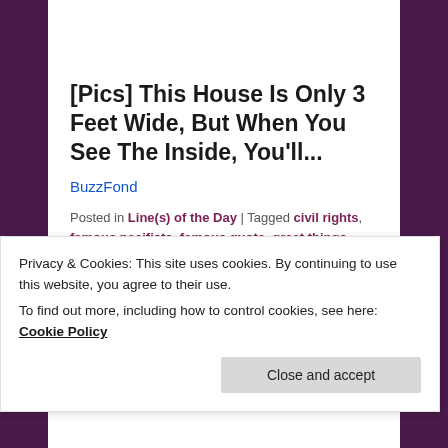[Pics] This House Is Only 3 Feet Wide, But When You See The Inside, You'll...
BuzzFond
Posted in Line(s) of the Day | Tagged civil rights, famous pacifists, famous quote, great things, iconic leaders, inspirational words, martin luther king jr, nobel peace prize, reflective, when was martin luther king born | 11 Replies
Privacy & Cookies: This site uses cookies. By continuing to use this website, you agree to their use. To find out more, including how to control cookies, see here: Cookie Policy
Close and accept